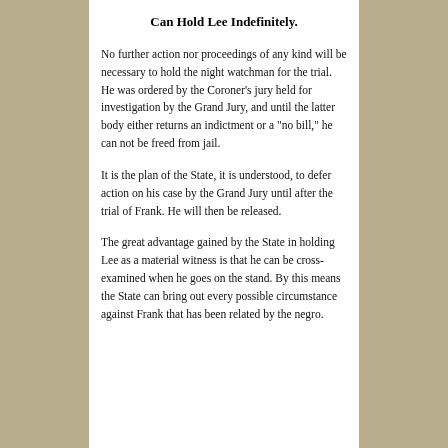Can Hold Lee Indefinitely.
No further action nor proceedings of any kind will be necessary to hold the night watchman for the trial. He was ordered by the Coroner’s jury held for investigation by the Grand Jury, and until the latter body either returns an indictment or a “no bill,” he can not be freed from jail.
It is the plan of the State, it is understood, to defer action on his case by the Grand Jury until after the trial of Frank. He will then be released.
The great advantage gained by the State in holding Lee as a material witness is that he can be cross-examined when he goes on the stand. By this means the State can bring out every possible circumstance against Frank that has been related by the negro.